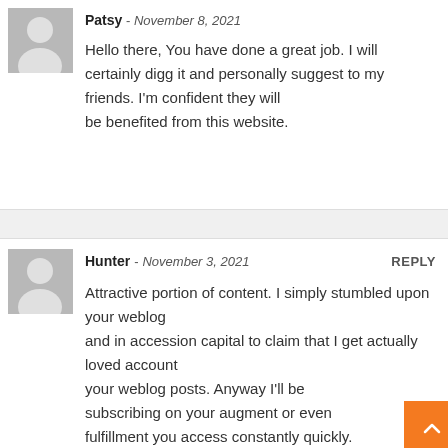[Figure (illustration): Gray placeholder avatar icon (silhouette of a person) for top comment by Patsy]
Patsy - November 8, 2021
Hello there, You have done a great job. I will certainly digg it and personally suggest to my friends. I'm confident they will be benefited from this website.
[Figure (illustration): Gray placeholder avatar icon (silhouette of a person) for bottom comment by Hunter]
Hunter - November 3, 2021
REPLY
Attractive portion of content. I simply stumbled upon your weblog and in accession capital to claim that I get actually loved account your weblog posts. Anyway I'll be subscribing on your augment or even fulfillment you access constantly quickly.